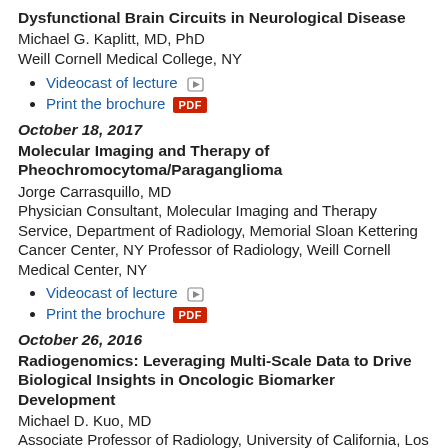Dysfunctional Brain Circuits in Neurological Disease
Michael G. Kaplitt, MD, PhD
Weill Cornell Medical College, NY
Videocast of lecture
Print the brochure
October 18, 2017
Molecular Imaging and Therapy of Pheochromocytoma/Paraganglioma
Jorge Carrasquillo, MD
Physician Consultant, Molecular Imaging and Therapy Service, Department of Radiology, Memorial Sloan Kettering Cancer Center, NY Professor of Radiology, Weill Cornell Medical Center, NY
Videocast of lecture
Print the brochure
October 26, 2016
Radiogenomics: Leveraging Multi-Scale Data to Drive Biological Insights in Oncologic Biomarker Development
Michael D. Kuo, MD
Associate Professor of Radiology, University of California, Los Angeles
Print the brochure
October 21, 2015